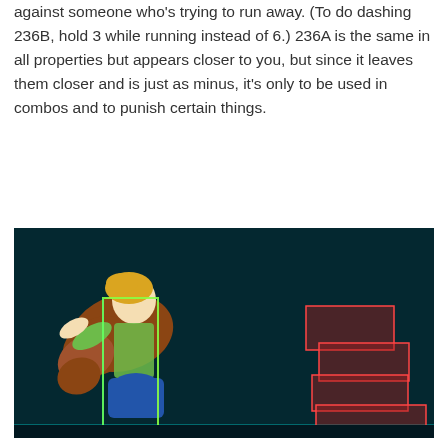against someone who's trying to run away. (To do dashing 236B, hold 3 while running instead of 6.) 236A is the same in all properties but appears closer to you, but since it leaves them closer and is just as minus, it's only to be used in combos and to punish certain things.
[Figure (screenshot): Fighting game screenshot showing an anime-style character with long blonde hair wearing a green and blue outfit, lunging forward with a glowing green hitbox rectangle around them. On the right side of the dark teal background are multiple overlapping red hitbox rectangles in a staircase pattern indicating attack range.]